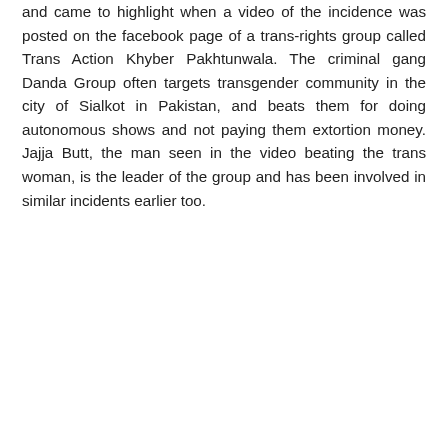and came to highlight when a video of the incidence was posted on the facebook page of a trans-rights group called Trans Action Khyber Pakhtunwala. The criminal gang Danda Group often targets transgender community in the city of Sialkot in Pakistan, and beats them for doing autonomous shows and not paying them extortion money. Jajja Butt, the man seen in the video beating the trans woman, is the leader of the group and has been involved in similar incidents earlier too.